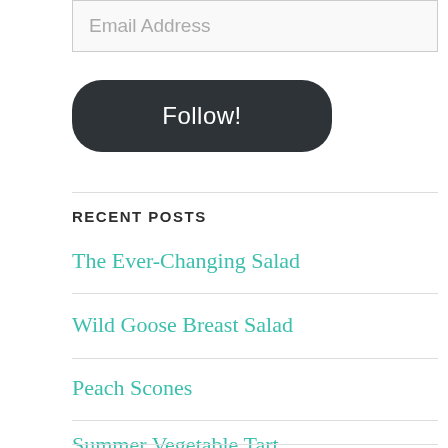Email Address
Follow!
RECENT POSTS
The Ever-Changing Salad
Wild Goose Breast Salad
Peach Scones
Summer Vegetable Tart
Bruschetta for Dinner